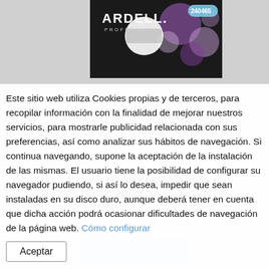[Figure (screenshot): Screenshot of an e-commerce product page for Ardell Professional false eyelashes/glue (product #240465) partially visible behind a cookie consent overlay. The background shows a greyed-out product listing with the text 'ARDELL PEGAMENTO TRANSPARENTE', a price of '6.50 €', an 'Añadir al Carrito' button, and an info button. At the top, a product image with the Ardell Professional branding is partially visible.]
Este sitio web utiliza Cookies propias y de terceros, para recopila información con la finalidad de mejorar nuestros servicios, para mostrarle publicidad relacionada con sus preferencias, así como analizar sus hábitos de navegación. Si continua navegando, supone la aceptación de la instalación de las mismas. El usuario tiene la posibilidad de configurar su navegador pudiendo, si así lo desea, impedir que sean instaladas en su disco duro, aunque deberá tener en cuenta que dicha acción podrá ocasionar dificultades de navegación de la página web. Cómo configurar   Aceptar